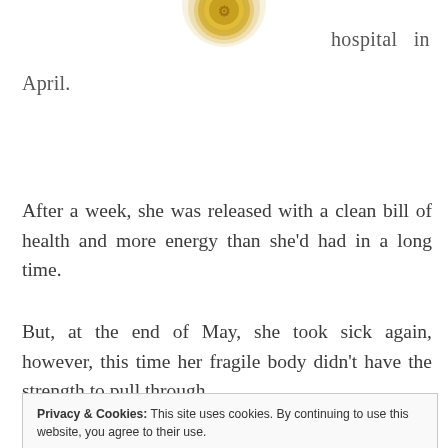[Figure (illustration): Partial circular gold/yellow emblem or seal icon, cropped at top of page]
hospital in April.
After a week, she was released with a clean bill of health and more energy than she'd had in a long time.
But, at the end of May, she took sick again, however, this time her fragile body didn't have the strength to pull through.
Privacy & Cookies: This site uses cookies. By continuing to use this website, you agree to their use. To find out more, including how to control cookies, see here: Cookie Policy
few days ago, actually made it through twenty-four hours without